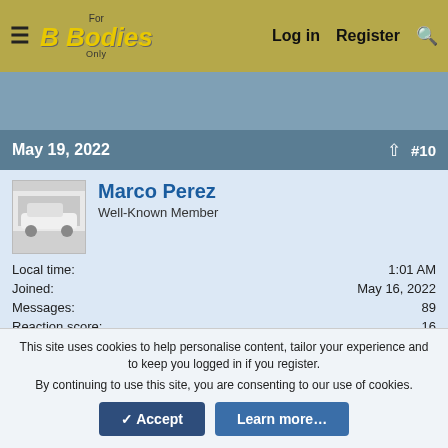For B Bodies Only - Log in  Register
[Figure (screenshot): Blue-gray advertisement banner area]
May 19, 2022  #10
[Figure (photo): Avatar photo of a white classic car]
Marco Perez
Well-Known Member
Local time: 1:01 AM
Joined: May 16, 2022
Messages: 89
Reaction score: 16
Location: Central California
From what I just read the fuel guage is the voltage limitor as it's labeled with 3 connection points behind it and is in
This site uses cookies to help personalise content, tailor your experience and to keep you logged in if you register.
By continuing to use this site, you are consenting to our use of cookies.